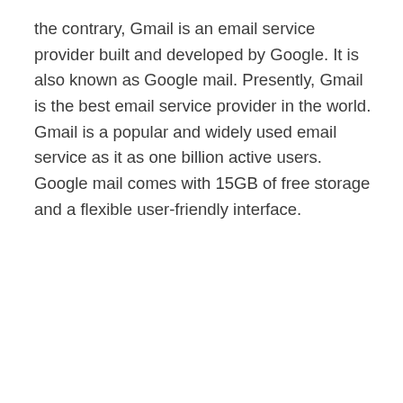the contrary, Gmail is an email service provider built and developed by Google. It is also known as Google mail. Presently, Gmail is the best email service provider in the world. Gmail is a popular and widely used email service as it as one billion active users. Google mail comes with 15GB of free storage and a flexible user-friendly interface.